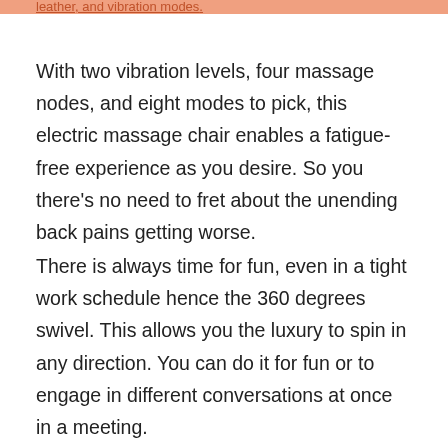leather, and vibration modes.
With two vibration levels, four massage nodes, and eight modes to pick, this electric massage chair enables a fatigue-free experience as you desire. So you there's no need to fret about the unending back pains getting worse.
There is always time for fun, even in a tight work schedule hence the 360 degrees swivel. This allows you the luxury to spin in any direction. You can do it for fun or to engage in different conversations at once in a meeting.